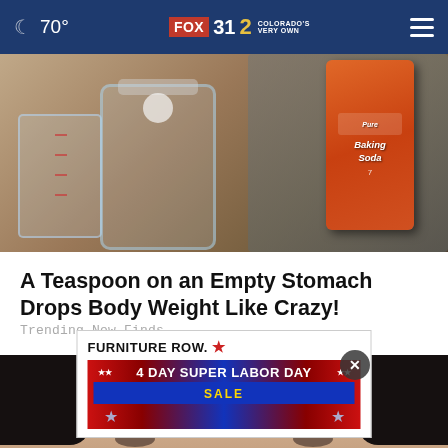70° FOX 31 2 COLORADO'S VERY OWN
[Figure (photo): Photo of a glass jar and measuring cup with baking soda box being held by a hand in the background]
A Teaspoon on an Empty Stomach Drops Body Weight Like Crazy!
Trending New Finds
[Figure (photo): Close-up photo of a woman's face with dark hair and prominent eyebrows]
[Figure (screenshot): Advertisement: FURNITURE ROW - 4 DAY SUPER LABOR DAY SALE]